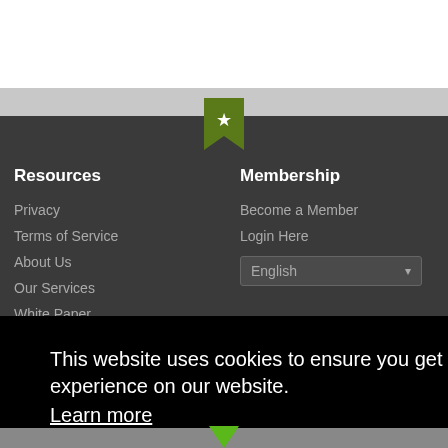Resources
Privacy
Terms of Service
About Us
Our Services
White Paper
Contact
Membership
Become a Member
Login Here
Be Social
Facebook
Twitter
LinkedIn
This website uses cookies to ensure you get the best experience on our website.
Learn more
Got it!